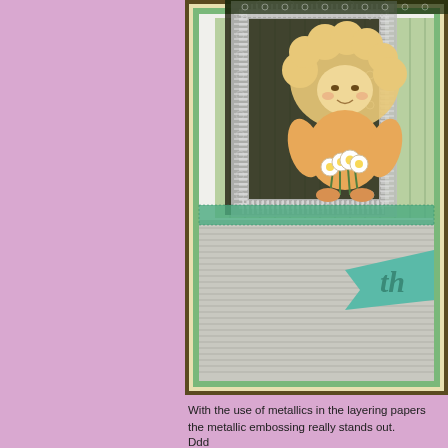[Figure (photo): Close-up photograph of a handmade greeting card with layered decorative papers. The card features a cute cartoon girl character holding flowers, surrounded by silver glitter embossing border, dark floral patterned paper, green striped background, and a teal banner/tag element with partial text 'th'. The card has multiple matted layers in green, white, and cream tones.]
With the use of metallics in the layering papers the metallic embossing really stands out.
Ddd